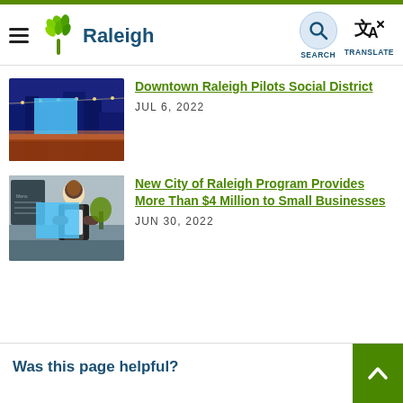Raleigh — City of Raleigh official website header with navigation menu, search, and translate buttons
[Figure (photo): Outdoor downtown Raleigh nighttime scene with string lights and buildings]
Downtown Raleigh Pilots Social District
JUL 6, 2022
[Figure (photo): A person in an apron, likely a small business owner or restaurant worker]
New City of Raleigh Program Provides More Than $4 Million to Small Businesses
JUN 30, 2022
Was this page helpful?